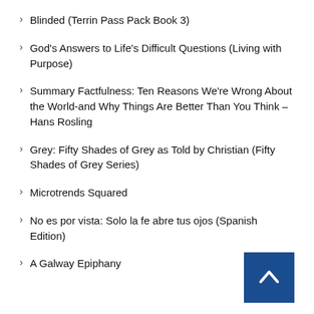Blinded (Terrin Pass Pack Book 3)
God's Answers to Life's Difficult Questions (Living with Purpose)
Summary Factfulness: Ten Reasons We're Wrong About the World-and Why Things Are Better Than You Think – Hans Rosling
Grey: Fifty Shades of Grey as Told by Christian (Fifty Shades of Grey Series)
Microtrends Squared
No es por vista: Solo la fe abre tus ojos (Spanish Edition)
A Galway Epiphany
[Figure (other): Back to top button — dark blue square with white upward chevron arrow]